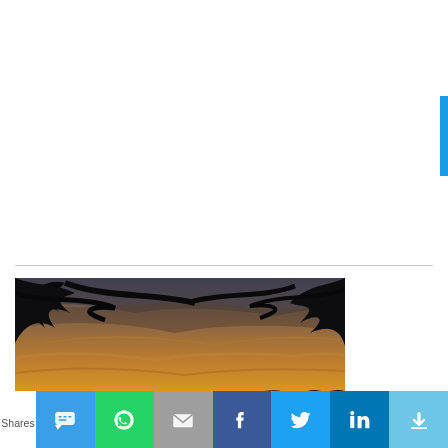[Figure (photo): Sunset over water with silhouetted crowd in foreground and mountains in the background, trees framing the top of the image. Kitsilano beach scene.]
Kitsilano: Click here for current “for sale” properties
Shares [social share buttons: SMS, WhatsApp, Email, Facebook, Twitter, LinkedIn, More]